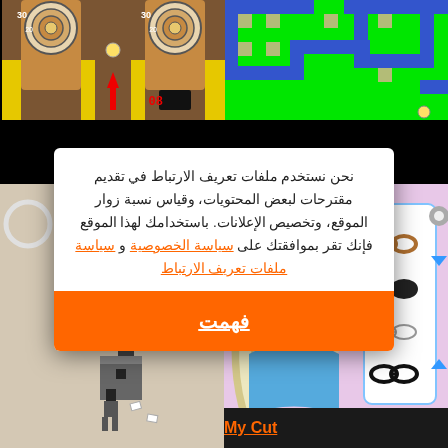[Figure (screenshot): Maze Ball game screenshot with green background and maze pattern]
[Figure (screenshot): Skeeball game screenshot with brown lanes and yellow bumpers]
Maze Ball
Skeeball
[Figure (screenshot): My Cut - dress up / glasses selection game screenshot with blonde character]
[Figure (screenshot): Pixel art action game screenshot with retro characters and score 70]
نحن نستخدم ملفات تعريف الارتباط في تقديم مقترحات لبعض المحتويات، وقياس نسبة زوار الموقع، وتخصيص الإعلانات. باستخدامك لهذا الموقع فإنك تقر بموافقتك على سياسة الخصوصية و سياسة ملفات تعريف الارتباط
فهمت